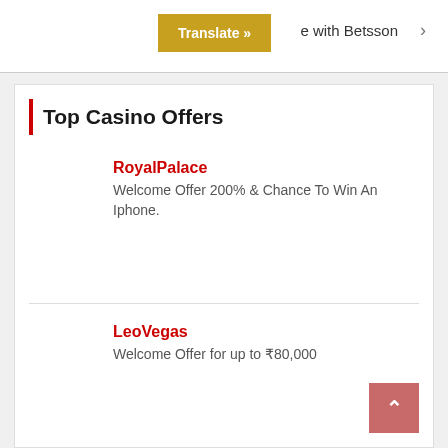Translate »  ...e with Betsson  ›
Top Casino Offers
RoyalPalace
Welcome Offer 200% & Chance To Win An Iphone.
LeoVegas
Welcome Offer for up to ₹80,000
RoyalPanda